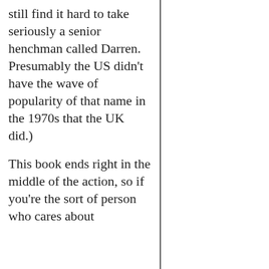still find it hard to take seriously a senior henchman called Darren. Presumably the US didn't have the wave of popularity of that name in the 1970s that the UK did.)
This book ends right in the middle of the action, so if you're the sort of person who cares about